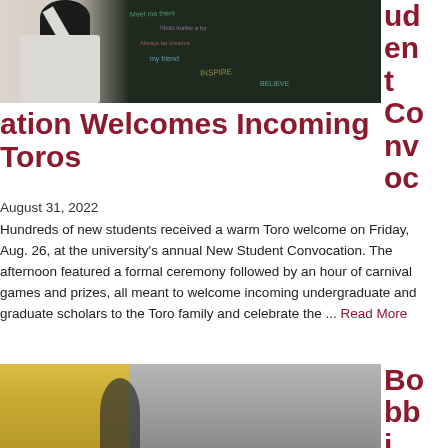[Figure (photo): Student writing on a chalkboard with chalk, viewed from behind, chalkboard covered in colorful writing]
Student Convocation Welcomes Incoming Toros
August 31, 2022
Hundreds of new students received a warm Toro welcome on Friday, Aug. 26, at the university's annual New Student Convocation. The afternoon featured a formal ceremony followed by an hour of carnival games and prizes, all meant to welcome incoming undergraduate and graduate scholars to the Toro family and celebrate the ... Read More
[Figure (photo): Person standing outside near a yellow and gray building, campus scene]